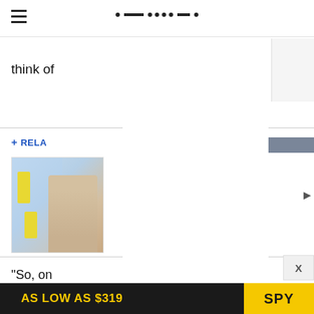Navigation header with hamburger menu and nav dots
think of
+ RELA
[Figure (photo): Photo of a woman in a sparkly dress with yellow decorative elements on a light blue background — partial thumbnail image]
"So, on
Grouher
I felt
[Figure (other): Advertisement banner: AS LOW AS $319 with SPY logo on yellow background]